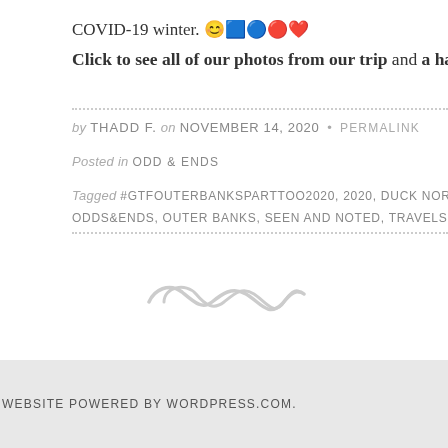COVID-19 winter. 😊🟦🔵🔴❤️
Click to see all of our photos from our trip and a handfu
by THADD F. on NOVEMBER 14, 2020 • PERMALINK
Posted in ODD & ENDS
Tagged #GTFOUTERBANKSPARTTOO2020, 2020, DUCK NORTH CAROLIN
ODDS&ENDS, OUTER BANKS, SEEN AND NOTED, TRAVELS, WE ATE THIS
[Figure (illustration): Decorative infinity/wave script divider symbol in light gray]
WEBSITE POWERED BY WORDPRESS.COM.